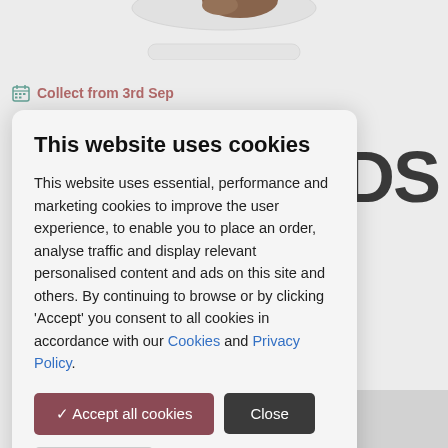[Figure (photo): Partial view of a chocolate product image cropped at top of page]
Collect from 3rd Sep
OODS
✓ In stock
This website uses cookies
This website uses essential, performance and marketing cookies to improve the user experience, to enable you to place an order, analyse traffic and display relevant personalised content and ads on this site and others. By continuing to browse or by clicking ‘Accept’ you consent to all cookies in accordance with our Cookies and Privacy Policy.
✓ Accept all cookies
Close
Read more